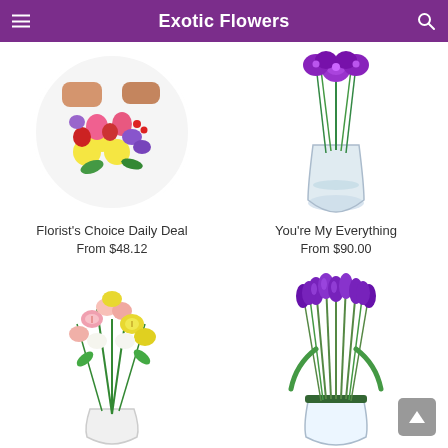Exotic Flowers
[Figure (photo): Circular photo of colorful mixed flower bouquet with yellow daisies, pink carnations, red roses, and purple flowers being arranged by hands]
Florist's Choice Daily Deal
From $48.12
[Figure (photo): Photo of purple dendrobium orchids in a clear glass vase]
You're My Everything
From $90.00
[Figure (photo): Photo of pink and yellow alstroemeria mixed bouquet in a white vase]
[Figure (photo): Photo of purple tulips in a clear glass vase with a green ribbon]